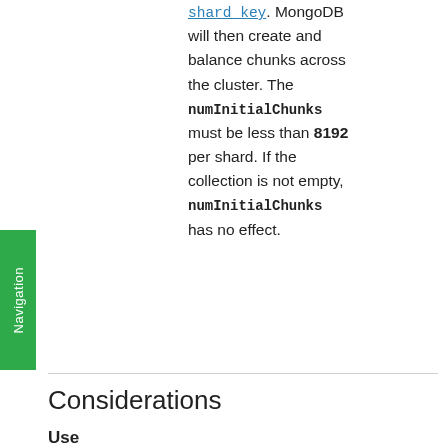shard key. MongoDB will then create and balance chunks across the cluster. The numInitialChunks must be less than 8192 per shard. If the collection is not empty, numInitialChunks has no effect.
Considerations
Use
Do not run more than one shardCollection command on the same collection at the same time.
MongoDB provides no method to deactivate sharding for